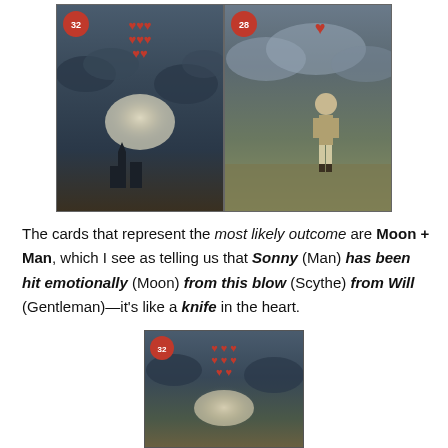[Figure (photo): Two Lenormand oracle cards side by side: left card shows Moon card (#32) with stormy dark sky and a church/castle silhouette with glowing light; right card shows Man card (#28) with a figure of a man standing in a field under stormy sky. Both cards have a playing card suit symbol at top.]
The cards that represent the most likely outcome are Moon + Man, which I see as telling us that Sonny (Man) has been hit emotionally (Moon) from this blow (Scythe) from Will (Gentleman)—it's like a knife in the heart.
[Figure (photo): Single Lenormand oracle card (#32 Moon) showing stormy sky with glowing light/moon effect and a misty landscape below. Red heart suit symbols visible on the card face.]